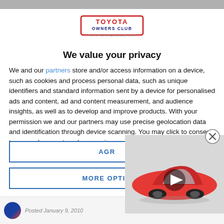[Figure (logo): Toyota Owners Club logo with red and white text styling and website URL]
We value your privacy
We and our partners store and/or access information on a device, such as cookies and process personal data, such as unique identifiers and standard information sent by a device for personalised ads and content, ad and content measurement, and audience insights, as well as to develop and improve products. With your permission we and our partners may use precise geolocation data and identification through device scanning. You may click to consent to our and our partners' processing as described above. Alternatively you may access more detailed information and change you...
[Figure (photo): Red Toyota sports car (GR86) on a light gray studio background with a video play button overlay]
AGREE
MORE OPTIONS
Posted January 9, 2010